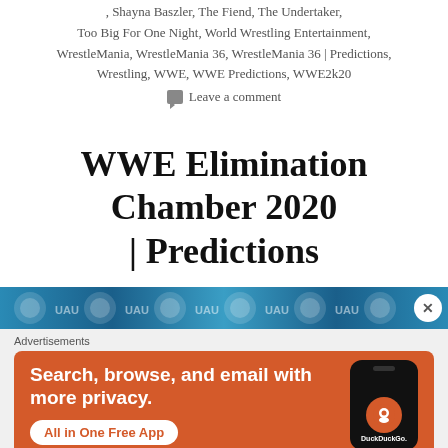, Shayna Baszler, The Fiend, The Undertaker, Too Big For One Night, World Wrestling Entertainment, WrestleMania, WrestleMania 36, WrestleMania 36 | Predictions, Wrestling, WWE, WWE Predictions, WWE2k20
Leave a comment
WWE Elimination Chamber 2020 | Predictions
[Figure (photo): Horizontal banner strip showing WWE Elimination Chamber promotional imagery with blue and white design elements, with a close (X) button on the right]
[Figure (other): DuckDuckGo advertisement with orange background. Text: 'Search, browse, and email with more privacy. All in One Free App'. Shows a smartphone with DuckDuckGo logo.]